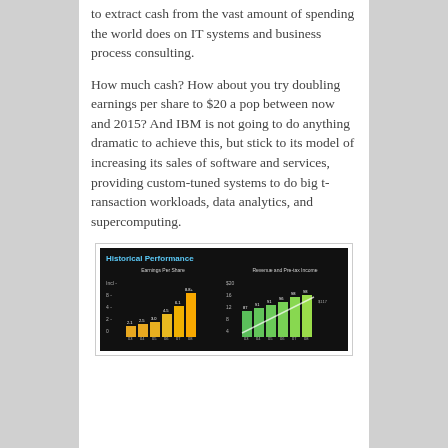to extract cash from the vast amount of spending the world does on IT systems and business process consulting.
How much cash? How about you try doubling earnings per share to $20 a pop between now and 2015? And IBM is not going to do anything dramatic to achieve this, but stick to its model of increasing its sales of software and services, providing custom-tuned systems to do big transaction workloads, data analytics, and supercomputing.
[Figure (grouped-bar-chart): Two grouped bar charts on black background. Left: Earnings Per Share bars (yellow/orange) for years 03-08 showing growth from ~2 to ~8+. Right: Revenue and Pre-tax Income bars (green gradient) for years 03-08.]